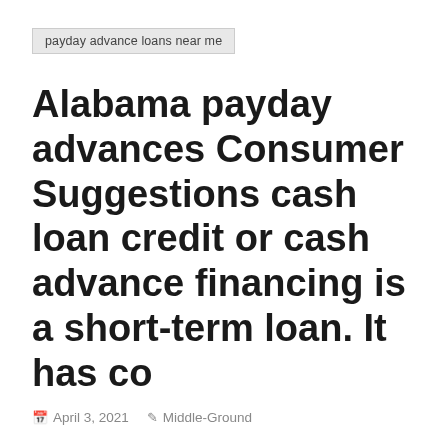payday advance loans near me
Alabama payday advances Consumer Suggestions cash loan credit or cash advance financing is a short-term loan. It has co
April 3, 2021   Middle-Ground
an advance loan credit or cash advance financing is a term cash loan that is short. It offers considered a loan that is personal means that you don't have to offer collateral. The borrower has to pay the loan within one week to a couple of months at most in most cases.
Ca